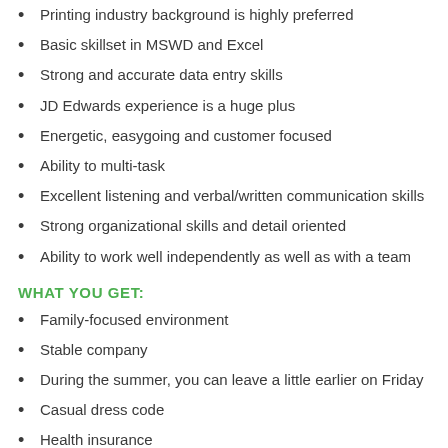Printing industry background is highly preferred
Basic skillset in MSWD and Excel
Strong and accurate data entry skills
JD Edwards experience is a huge plus
Energetic, easygoing and customer focused
Ability to multi-task
Excellent listening and verbal/written communication skills
Strong organizational skills and detail oriented
Ability to work well independently as well as with a team
WHAT YOU GET:
Family-focused environment
Stable company
During the summer, you can leave a little earlier on Friday
Casual dress code
Health insurance